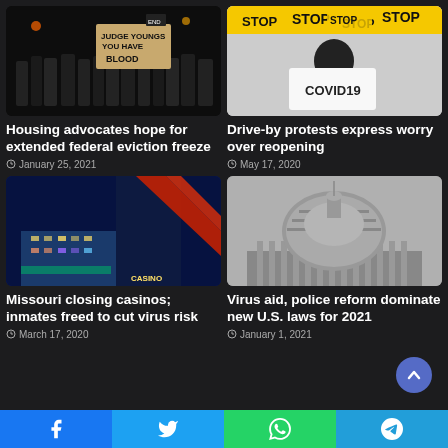[Figure (photo): Night protest scene with people holding signs reading 'JUDGE YOUNGS YOU HAVE BLOOD']
Housing advocates hope for extended federal eviction freeze
January 25, 2021
[Figure (photo): Person holding COVID19 sign with yellow STOP tape in background]
Drive-by protests express worry over reopening
May 17, 2020
[Figure (photo): Casino building at night with colorful neon lights and red diagonal accent]
Missouri closing casinos; inmates freed to cut virus risk
March 17, 2020
[Figure (photo): Black and white photo of U.S. Capitol dome]
Virus aid, police reform dominate new U.S. laws for 2021
January 1, 2021